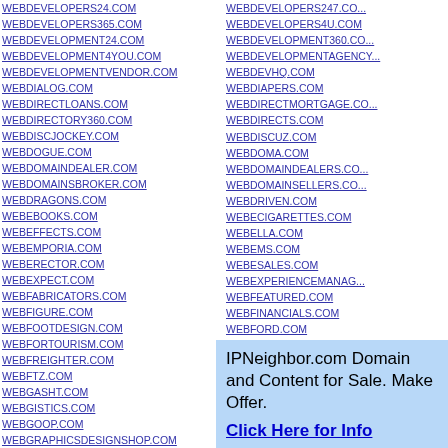WEBDEVELOPERS24.COM
WEBDEVELOPERS365.COM
WEBDEVELOPMENT24.COM
WEBDEVELOPMENT4YOU.COM
WEBDEVELOPMENTVENDOR.COM
WEBDIALOG.COM
WEBDIRECTLOANS.COM
WEBDIRECTORY360.COM
WEBDISCJOCKEY.COM
WEBDOGUE.COM
WEBDOMAINDEALER.COM
WEBDOMAINSBROKER.COM
WEBDRAGONS.COM
WEBEBOOKS.COM
WEBEFFECTS.COM
WEBEMPORIA.COM
WEBERECTOR.COM
WEBEXPECT.COM
WEBFABRICATORS.COM
WEBFIGURE.COM
WEBFOOTDESIGN.COM
WEBFORTOURISM.COM
WEBFREIGHTER.COM
WEBFTZ.COM
WEBGASHT.COM
WEBGISTICS.COM
WEBGOOP.COM
WEBGRAPHICSDESIGNSHOP.COM
WEBDEVELOPERS247.COM
WEBDEVELOPERS4U.COM
WEBDEVELOPMENT360.COM
WEBDEVELOPMENTAGENCY...
WEBDEVHQ.COM
WEBDIAPERS.COM
WEBDIRECTMORTGAGE.COM
WEBDIRECTS.COM
WEBDISCUZ.COM
WEBDOMA.COM
WEBDOMAINDEALERS.COM
WEBDOMAINSELLERS.COM
WEBDRIVEN.COM
WEBECIGARETTES.COM
WEBELLA.COM
WEBEMS.COM
WEBESALES.COM
WEBEXPERIENCEMANAG...
WEBFEATURED.COM
WEBFINANCIALS.COM
WEBFORD.COM
WEBFRACTALES.COM
WEBFRENZY.COM
IPNeighbor.com Domain and Content for Sale. Make Offer. Click Here for Info